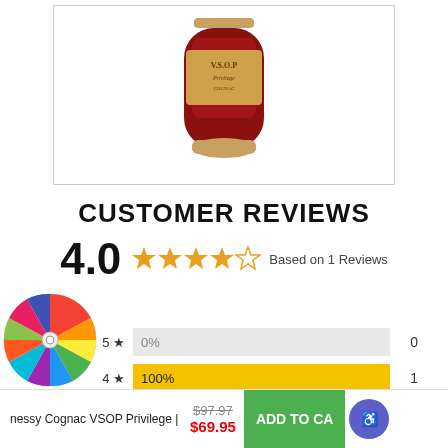[Figure (photo): Product photo of Hennessy Cognac VSOP Privilege bottle with red and gold design]
CUSTOMER REVIEWS
4.0 ★★★★☆ Based on 1 Reviews
| Rating | Percentage | Count |
| --- | --- | --- |
| 5 ★ | 0% | 0 |
| 4 ★ | 100% | 1 |
| 3 ★ | 0% | 0 |
| 2 ★ | 0% | 0 |
Hennessy Cognac VSOP Privilege | $97.97 $69.95 ADD TO CART